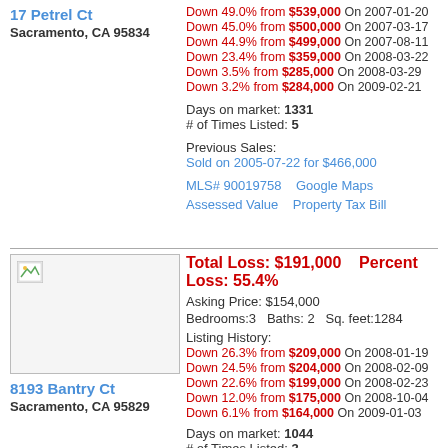Down 49.0% from $539,000 On 2007-01-20
Down 45.0% from $500,000 On 2007-03-17
Down 44.9% from $499,000 On 2007-08-11
Down 23.4% from $359,000 On 2008-03-22
Down 3.5% from $285,000 On 2008-03-29
Down 3.2% from $284,000 On 2009-02-21
Days on market: 1331
# of Times Listed: 5
Previous Sales:
Sold on 2005-07-22 for $466,000
MLS# 90019758    Google Maps
Assessed Value    Property Tax Bill
17 Petrel Ct
Sacramento, CA 95834
[Figure (photo): Property photo placeholder for 8193 Bantry Ct]
Total Loss: $191,000    Percent Loss: 55.4%
Asking Price: $154,000
Bedrooms:3   Baths: 2   Sq. feet:1284
Listing History:
Down 26.3% from $209,000 On 2008-01-19
Down 24.5% from $204,000 On 2008-02-09
Down 22.6% from $199,000 On 2008-02-23
Down 12.0% from $175,000 On 2008-10-04
Down 6.1% from $164,000 On 2009-01-03
Days on market: 1044
# of Times Listed: 3
Previous Sales:
Sold on 2004-08-25 for $305,000
8193 Bantry Ct
Sacramento, CA 95829